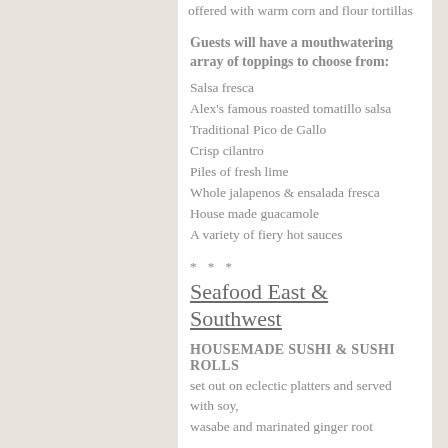offered with warm corn and flour tortillas
Guests will have a mouthwatering array of toppings to choose from:
Salsa fresca
Alex's famous roasted tomatillo salsa
Traditional Pico de Gallo
Crisp cilantro
Piles of fresh lime
Whole jalapenos & ensalada fresca
House made guacamole
A variety of fiery hot sauces
* * *
Seafood East & Southwest
HOUSEMADE SUSHI & SUSHI ROLLS
set out on eclectic platters and served with soy, wasabe and marinated ginger root
FRESH DUNGENESS CRABCAKES
served hot at the station, from great cast iron skillets,